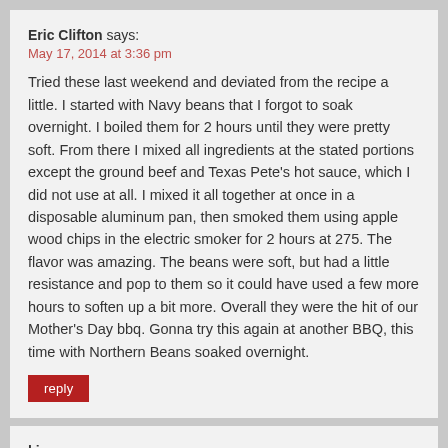Eric Clifton says:
May 17, 2014 at 3:36 pm
Tried these last weekend and deviated from the recipe a little. I started with Navy beans that I forgot to soak overnight. I boiled them for 2 hours until they were pretty soft. From there I mixed all ingredients at the stated portions except the ground beef and Texas Pete's hot sauce, which I did not use at all. I mixed it all together at once in a disposable aluminum pan, then smoked them using apple wood chips in the electric smoker for 2 hours at 275. The flavor was amazing. The beans were soft, but had a little resistance and pop to them so it could have used a few more hours to soften up a bit more. Overall they were the hit of our Mother's Day bbq. Gonna try this again at another BBQ, this time with Northern Beans soaked overnight.
reply
kim says:
May 6, 2014 at 1:42 pm
Hi Steve,
Have made your recipe a few times as written and these are by far the BEST...